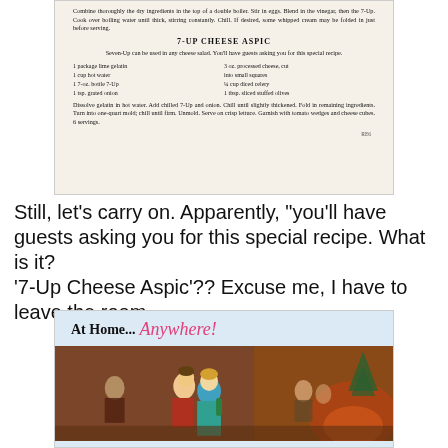[Figure (photo): Scanned cookbook page showing recipe text for '7-Up Cheese Aspic' including ingredients and directions.]
Still, let's carry on. Apparently, "you'll have guests asking you for this special recipe. What is it? '7-Up Cheese Aspic'?? Excuse me, I have to leave the room....
[Figure (photo): Vintage 7-Up advertisement showing 'At Home... Anywhere!' with a party scene of couples at a social gathering.]